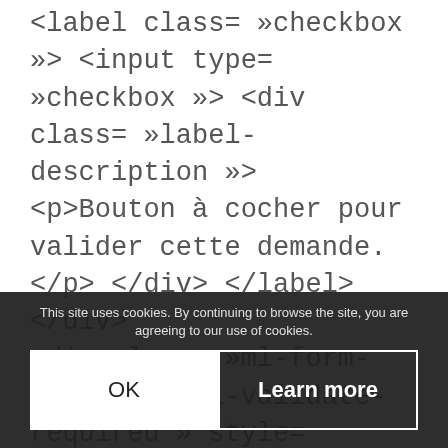<label class= »checkbox »> <input type= »checkbox »> <div class= »label-description »> <p>Bouton à cocher pour valider cette demande.</p> </div> </label> </div> <div class= »ml-form-recaptcha ml-validate-required » style= »float:left »> <style type= »text/css »> .ml-form-recaptcha{margin-bottom:20px}.ml-form-recaptcha.ml-error iframe{border:solid 1px red}@media screen and (max-width:480px) {.ml-form-recaptcha{width:220px!important}.g-recaptcha{transform:scale(.78);-webkit-transform:scale(.78);transform-origin:0 0;-webkit-transform-origin:0 0}} </style>
This site uses cookies. By continuing to browse the site, you are agreeing to our use of cookies.
OK
Learn more